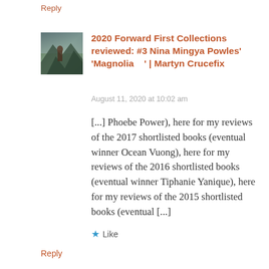Reply
[Figure (photo): Avatar photo of a person on a mountain landscape]
2020 Forward First Collections reviewed: #3 Nina Mingya Powles' 'Magnolia   ' | Martyn Crucefix
August 11, 2020 at 10:02 am
[...] Phoebe Power), here for my reviews of the 2017 shortlisted books (eventual winner Ocean Vuong), here for my reviews of the 2016 shortlisted books (eventual winner Tiphanie Yanique), here for my reviews of the 2015 shortlisted books (eventual [...]
Like
Reply